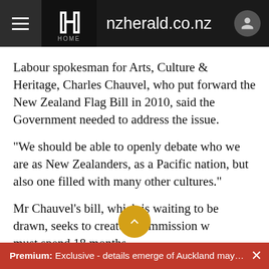nzherald.co.nz
Labour spokesman for Arts, Culture & Heritage, Charles Chauvel, who put forward the New Zealand Flag Bill in 2010, said the Government needed to address the issue.
"We should be able to openly debate who we are as New Zealanders, as a Pacific nation, but also one filled with many other cultures."
Mr Chauvel's bill, which is waiting to be drawn, seeks to create a commission which must spend 18 months
Premium: Exclusive - details emerge of Auckland mayora…